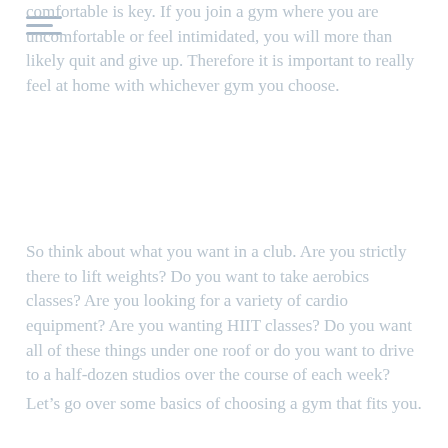comfortable is key. If you join a gym where you are uncomfortable or feel intimidated, you will more than likely quit and give up. Therefore it is important to really feel at home with whichever gym you choose.
So think about what you want in a club. Are you strictly there to lift weights? Do you want to take aerobics classes? Are you looking for a variety of cardio equipment? Are you wanting HIIT classes? Do you want all of these things under one roof or do you want to drive to a half-dozen studios over the course of each week?
Let’s go over some basics of choosing a gym that fits you.